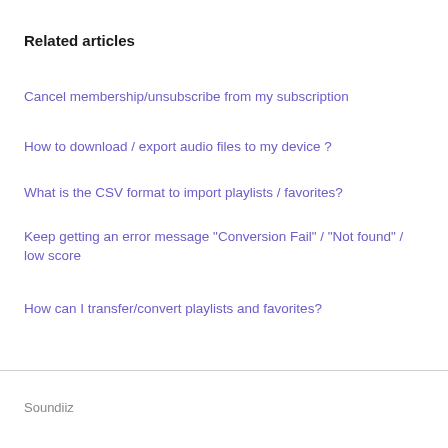Related articles
Cancel membership/unsubscribe from my subscription
How to download / export audio files to my device ?
What is the CSV format to import playlists / favorites?
Keep getting an error message "Conversion Fail" / "Not found" / low score
How can I transfer/convert playlists and favorites?
Soundiiz